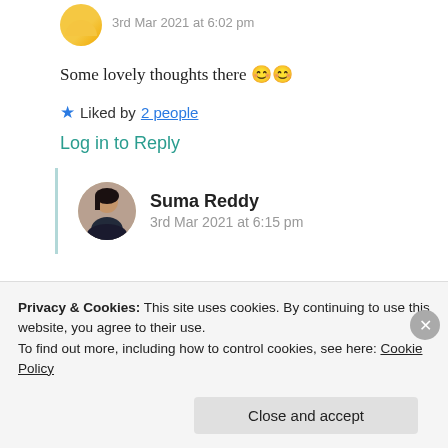3rd Mar 2021 at 6:02 pm
Some lovely thoughts there 😊😊
★ Liked by 2 people
Log in to Reply
Suma Reddy
3rd Mar 2021 at 6:15 pm
Privacy & Cookies: This site uses cookies. By continuing to use this website, you agree to their use.
To find out more, including how to control cookies, see here: Cookie Policy
Close and accept